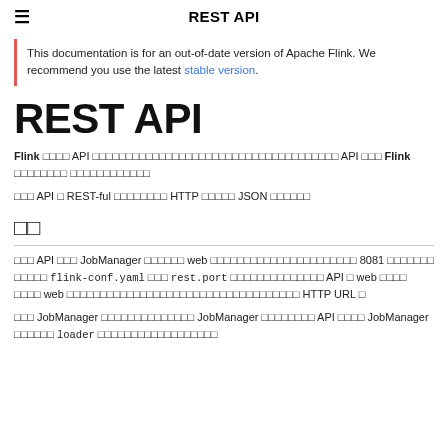REST API
This documentation is for an out-of-date version of Apache Flink. We recommend you use the latest stable version.
REST API
Flink □□□□ API □□□□□□□□□□□□□□□□□□□□□□□□□□□□□□□□□□□□□ API □□□ Flink □□□□□□□□ □□□□□□□□□□□□
□□□ API □ REST-ful □□□□□□□□ HTTP □□□□□ JSON □□□□□□
□□
□□□ API □□□ JobManager □□□□□□ web □□□□□□□□□□□□□□□□□□□□□□ 8081 □□□□□□□ □□□□□ flink-conf.yaml □□□ rest.port □□□□□□□□□□□□□□ API □ web □□□□ □□□□ web □□□□□□□□□□□□□□□□□□□□□□□□□□□□□□□□□□□ HTTP URL □
□□□ JobManager □□□□□□□□□□□□□□ JobManager □□□□□□□□ API □□□□ JobManager □□□□□□ loader □□□□□□□□□□□□□□□□□□